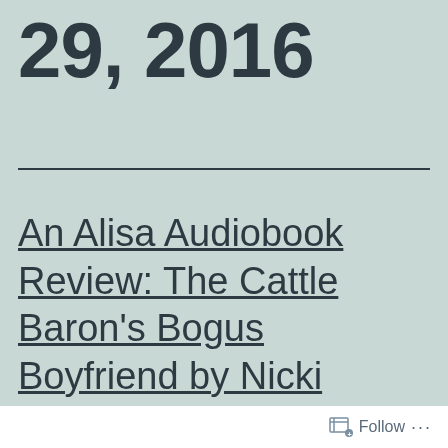29, 2016
An Alisa Audiobook Review: The Cattle Baron's Bogus Boyfriend by Nicki Bennett and
Follow